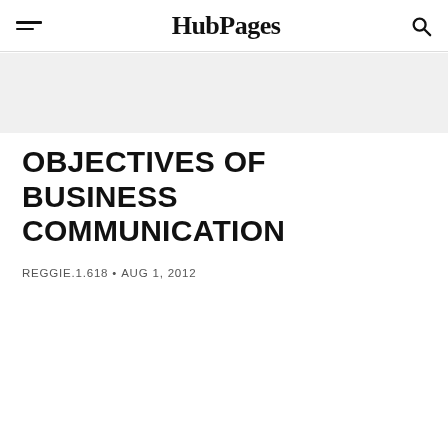HubPages
OBJECTIVES OF BUSINESS COMMUNICATION
REGGIE.1.618 • AUG 1, 2012